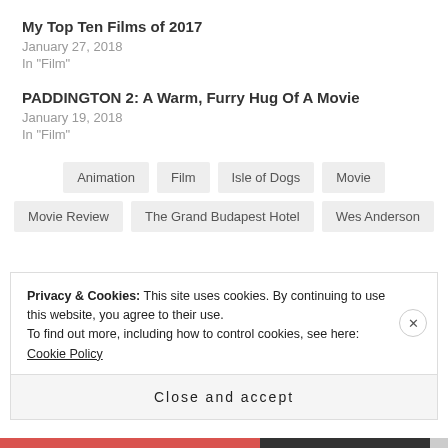My Top Ten Films of 2017
January 27, 2018
In "Film"
PADDINGTON 2: A Warm, Furry Hug Of A Movie
January 19, 2018
In "Film"
Animation
Film
Isle of Dogs
Movie
Movie Review
The Grand Budapest Hotel
Wes Anderson
Privacy & Cookies: This site uses cookies. By continuing to use this website, you agree to their use.
To find out more, including how to control cookies, see here: Cookie Policy
Close and accept